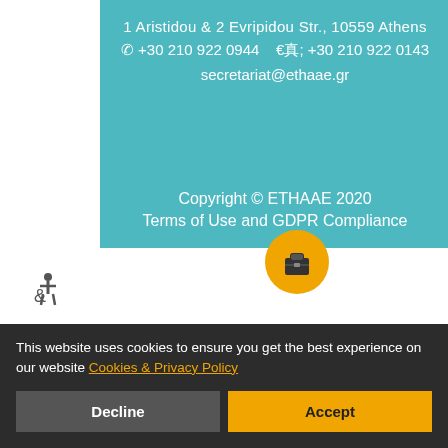1 Aristidou & 2 Evripidou Str., 10559 Athens
☎ +30 210 922 0944   🖨 +30 210 922 0143
secretariat@ethaae.gr
Copyright © ETHAAE 2020
Terms of Use and GDPR Compliance
This website uses cookies to ensure you get the best experience on our website Cookies & Privacy Policy
Decline
Accept
Ρυθμίσεις για τα Cookies :
✓ Necessary | ✓ Preferences | ✓ Statistics